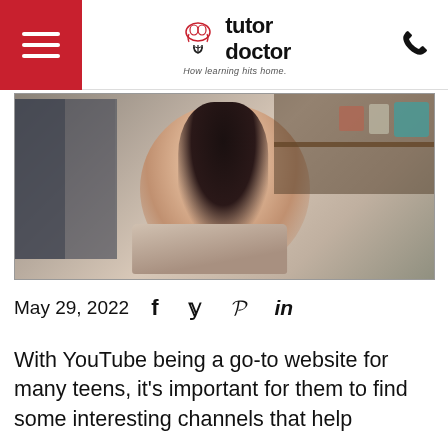tutor doctor — How learning hits home.
[Figure (photo): Young woman smiling at a laptop, seated at a home desk with shelves in the background]
May 29, 2022
With YouTube being a go-to website for many teens, it's important for them to find some interesting channels that help